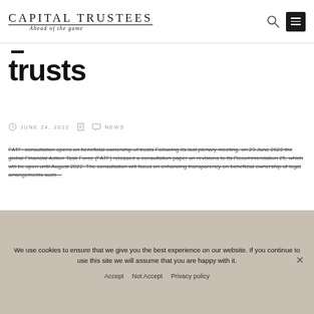CAPITAL TRUSTEES — Ahead of the game
trusts
JUNE 24, 2022   NEWS
FATF: consultation opens on beneficial ownership of trusts Following its last plenary meeting, on 23 June 2022 the global Financial Action Task Force (FATF) released a consultation paper on revisions to its Recommendation 25, which will be open until August 2022. The consultation will focus on enhancing transparency on beneficial ownership of legal arrangements such...
We use cookies to ensure that we give you the best experience on our website. If you continue to use this site we will assume that you are happy with it.
Accept   Not Accept   Privacy policy